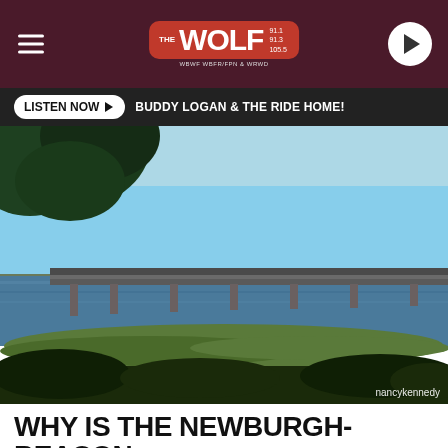THE WOLF 91.1 91.3 105.5
LISTEN NOW  BUDDY LOGAN & THE RIDE HOME!
[Figure (photo): Photograph of the Newburgh-Beacon Bridge spanning a wide river, taken from the shore with trees in the foreground and a clear blue sky. Photo credit: nancykennedy]
WHY IS THE NEWBURGH-BEACON BRIDGE ALSO KNOWN AS